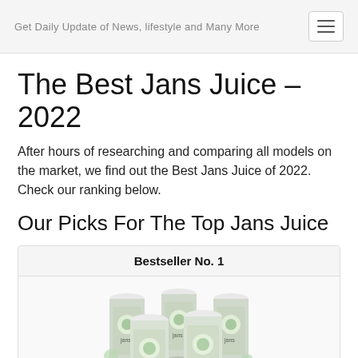Get Daily Update of News, lifestyle and Many More
The Best Jans Juice – 2022
After hours of researching and comparing all models on the market, we find out the Best Jans Juice of 2022. Check our ranking below.
Our Picks For The Top Jans Juice
Bestseller No. 1
[Figure (photo): Multiple cans of Jans brand juice drink with green fruit/coconut imagery arranged in a group]